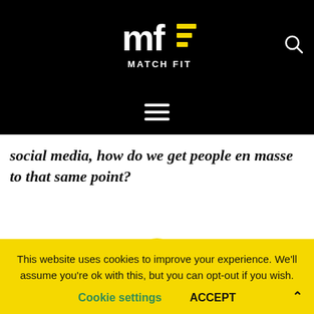[Figure (logo): Match Fit logo — white 'mf' lettermark with yellow accent stripe on black background, with 'MATCH FIT' text below]
social media, how do we get people en masse to that same point?
[Figure (photo): Circular avatar photo of a woman wearing a hijab, bordered in yellow]
This website uses cookies to improve your experience. We'll assume you're ok with this, but you can opt-out if you wish.
Cookie settings   ACCEPT